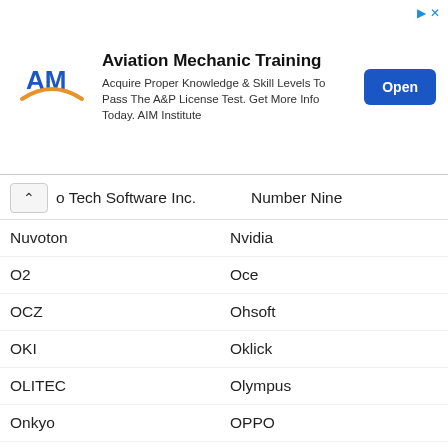[Figure (infographic): Advertisement banner for Aviation Mechanic Training by AIM Institute. Contains AM logo, title 'Aviation Mechanic Training', body text 'Acquire Proper Knowledge & Skill Levels To Pass The A&P License Test. Get More Info Today. AIM Institute', and a blue 'Open' button.]
o Tech Software Inc. | Number Nine
Nuvoton | Nvidia
O2 | Oce
OCZ | Ohsoft
OKI | Oklick
OLITEC | Olympus
Onkyo | OPPO
Optiarc | Option
Oracle | OrgBusiness Software
OTHER MODEM | OTHER NETWORK